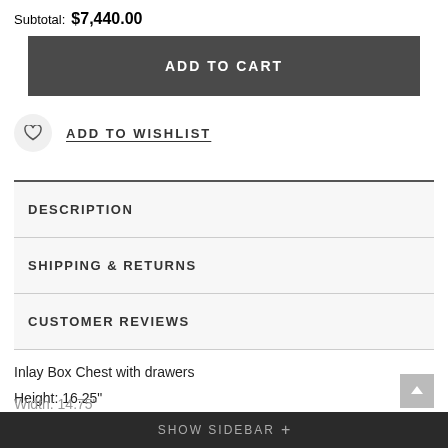Subtotal: $7,440.00
ADD TO CART
ADD TO WISHLIST
DESCRIPTION
SHIPPING & RETURNS
CUSTOMER REVIEWS
Inlay Box Chest with drawers
Height: 16.25"
SHOW SIDEBAR +